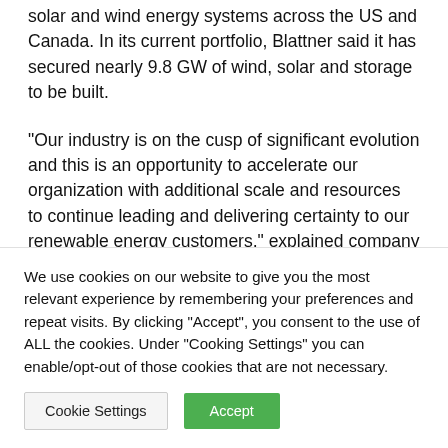solar and wind energy systems across the US and Canada. In its current portfolio, Blattner said it has secured nearly 9.8 GW of wind, solar and storage to be built.
“Our industry is on the cusp of significant evolution and this is an opportunity to accelerate our organization with additional scale and resources to continue leading and delivering certainty to our renewable energy customers,” explained company President Scott Blattner. He added, “Equally important, we want an organization that’s a leader in their respective market and can provide the
We use cookies on our website to give you the most relevant experience by remembering your preferences and repeat visits. By clicking “Accept”, you consent to the use of ALL the cookies. Under “Cooking Settings” you can enable/opt-out of those cookies that are not necessary.